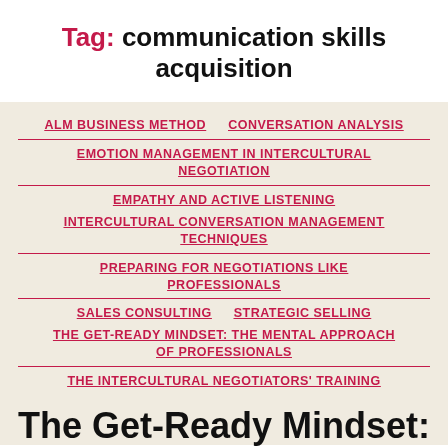Tag: communication skills acquisition
ALM BUSINESS METHOD
CONVERSATION ANALYSIS
EMOTION MANAGEMENT IN INTERCULTURAL NEGOTIATION
EMPATHY AND ACTIVE LISTENING
INTERCULTURAL CONVERSATION MANAGEMENT TECHNIQUES
PREPARING FOR NEGOTIATIONS LIKE PROFESSIONALS
SALES CONSULTING
STRATEGIC SELLING
THE GET-READY MINDSET: THE MENTAL APPROACH OF PROFESSIONALS
THE INTERCULTURAL NEGOTIATORS' TRAINING
The Get-Ready Mindset: